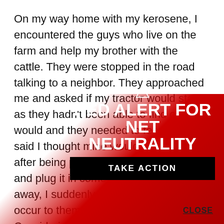On my way home with my kerosene, I encountered the guys who live on the farm and help my brother with the cattle. They were stopped in the road talking to a neighbor. They approached me and asked if my tractor would start, as they hadn't been able to find one that would and they needed to feed cattle. I said I thought mine would probably start after being plugged in f said I'd go home and plug it in come get it after about away, I suddenly re WHAT?" I don't kno occur to them eith had a generator Considering the
[Figure (infographic): Red gradient overlay with a Red Alert for Net Neutrality banner featuring a warning triangle icon, bold white text reading 'RED ALERT FOR NET NEUTRALITY', a black 'TAKE ACTION' button, and a 'CLOSE' link.]